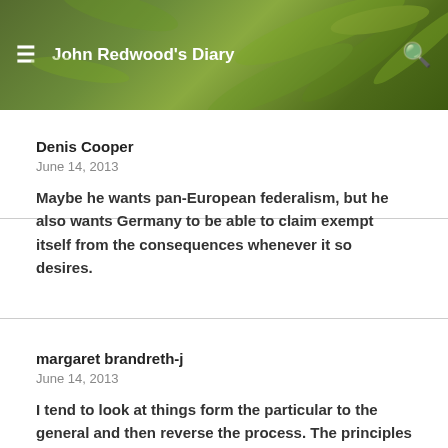John Redwood's Diary
Denis Cooper
June 14, 2013
Maybe he wants pan-European federalism, but he also wants Germany to be able to claim exempt itself from the consequences whenever it so desires.
margaret brandreth-j
June 14, 2013
I tend to look at things form the particular to the general and then reverse the process. The principles I apply are not scientifically exact but are as accurate as the occasion is lik it...